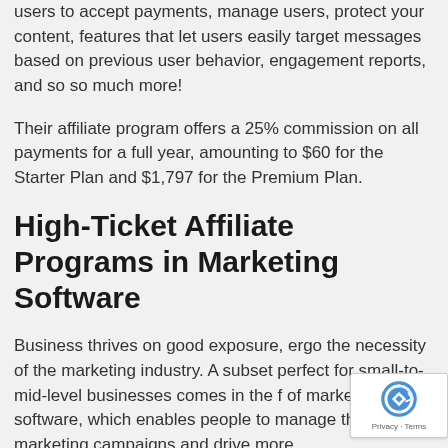users to accept payments, manage users, protect your content, features that let users easily target messages based on previous user behavior, engagement reports, and so so much more!
Their affiliate program offers a 25% commission on all payments for a full year, amounting to $60 for the Starter Plan and $1,797 for the Premium Plan.
High-Ticket Affiliate Programs in Marketing Software
Business thrives on good exposure, ergo the necessity of the marketing industry. A subset perfect for small-to-mid-level businesses comes in the f... of marketing software, which enables people to manage their marketing campaigns and drive more